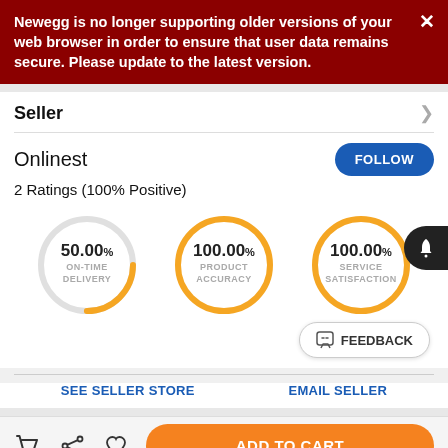Newegg is no longer supporting older versions of your web browser in order to ensure that user data remains secure. Please update to the latest version.
Seller
Onlinest
2 Ratings (100% Positive)
[Figure (infographic): Three donut/circle progress charts: 50.00% ON-TIME DELIVERY (gray circle, partial orange arc), 100.00% PRODUCT ACCURACY (full orange circle), 100.00% SERVICE SATISFACTION (full orange circle)]
SEE SELLER STORE
EMAIL SELLER
ADD TO CART